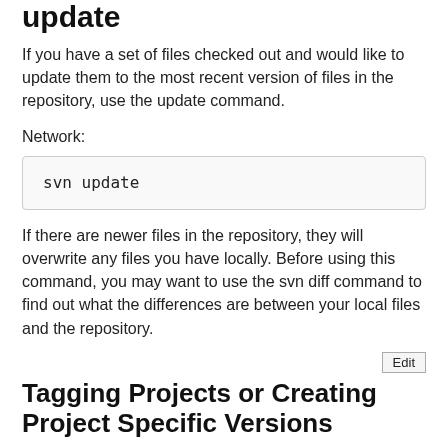update
If you have a set of files checked out and would like to update them to the most recent version of files in the repository, use the update command.
Network:
svn update
If there are newer files in the repository, they will overwrite any files you have locally. Before using this command, you may want to use the svn diff command to find out what the differences are between your local files and the repository.
Tagging Projects or Creating Project Specific Versions
Subversion does not track the version numbers for individual projects separately, but it does allow you to